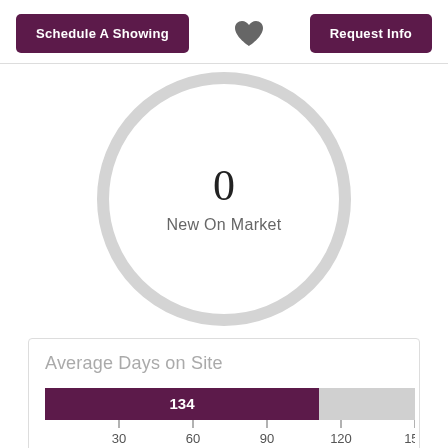Schedule A Showing
[Figure (other): Heart icon favorite button]
Request Info
[Figure (donut-chart): Large circle with 0 in center and label New On Market]
Average Days on Site
[Figure (bar-chart): Average Days on Site]